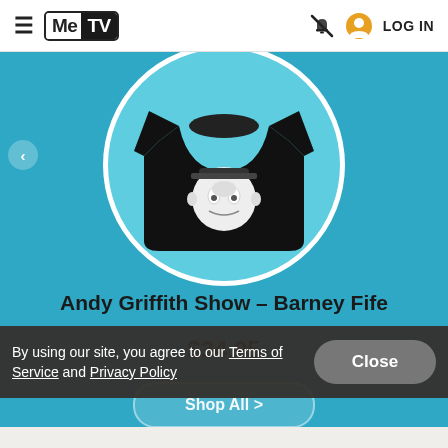MeTV | LOG IN
[Figure (photo): Black sweatshirt with Barney Fife face printed on front, shown inside a circular frame on a teal/cyan background. This is a product image for the Andy Griffith Show - Barney Fife sweatshirt priced at $34.95 on the MeTV shop.]
Andy Griffith Show – Barney Fife
$34.95
Shop All >
By using our site, you agree to our Terms of Service and Privacy Policy
Close